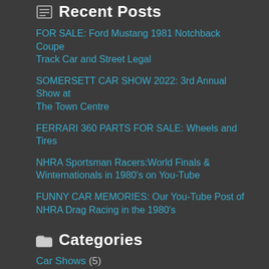Recent Posts
FOR SALE: Ford Mustang 1981 Notchback Coupe Track Car and Street Legal
SOMERSETT CAR SHOW 2022: 3rd Annual Show at The Town Centre
FERRARI 360 PARTS FOR SALE: Wheels and Tires
NHRA Sportsman Racers:World Finals & Winternationals in 1980's on You-Tube
FUNNY CAR MEMORIES: Our You-Tube Post of NHRA Drag Racing in the 1980's
Categories
Car Shows  (5)
Motorsport News  (77)
Muscle Car Heroes  (3)
Uncategorized  (8)